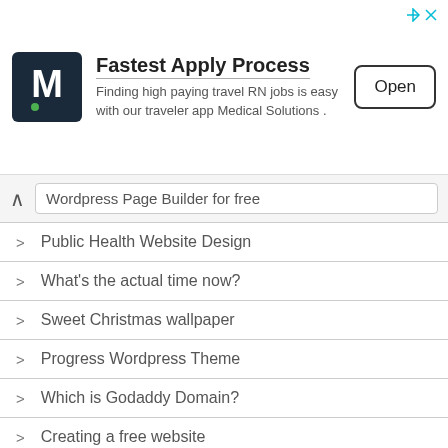[Figure (screenshot): Advertisement banner for Medical Solutions with M logo, 'Fastest Apply Process' headline, description about travel RN jobs, and Open button]
Wordpress Page Builder for free
Public Health Website Design
What's the actual time now?
Sweet Christmas wallpaper
Progress Wordpress Theme
Which is Godaddy Domain?
Creating a free website
Space required Logo Design
wick net
Theme Forest
Topic plugin
Dear Music Themes